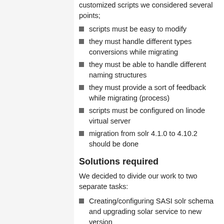customized scripts we considered several points;
scripts must be easy to modify
they must handle different types conversions while migrating
they must be able to handle different naming structures
they must provide a sort of feedback while migrating (process)
scripts must be configured on linode virtual server
migration from solr 4.1.0 to 4.10.2 should be done
Solutions required
We decided to divide our work to two separate tasks:
Creating/configuring SASI solr schema and upgrading solar service to new version
Writing scripts for data reindexing
Creating Web tool for easier control during migration
Project 1: Creating/configuring SASI solr...